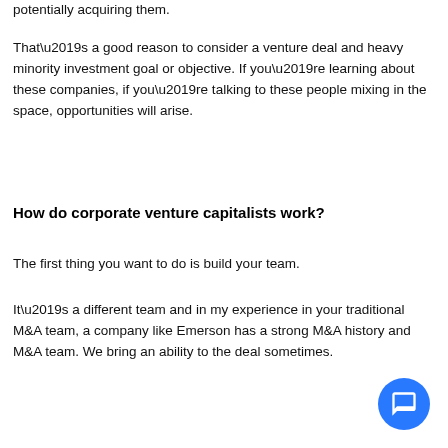potentially acquiring them.
That’s a good reason to consider a venture deal and heavy minority investment goal or objective. If you’re learning about these companies, if you’re talking to these people mixing in the space, opportunities will arise.
How do corporate venture capitalists work?
The first thing you want to do is build your team.
It’s a different team and in my experience in your traditional M&A team, a company like Emerson has a strong M&A history and M&A team. We bring an ability to the deal sometimes.